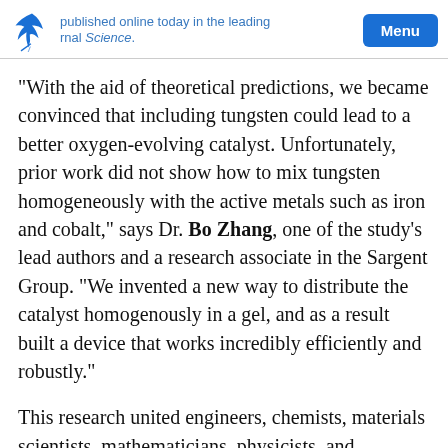published online today in the leading journal Science.
“With the aid of theoretical predictions, we became convinced that including tungsten could lead to a better oxygen-evolving catalyst. Unfortunately, prior work did not show how to mix tungsten homogeneously with the active metals such as iron and cobalt,” says Dr. Bo Zhang, one of the study’s lead authors and a research associate in the Sargent Group. “We invented a new way to distribute the catalyst homogenously in a gel, and as a result built a device that works incredibly efficiently and robustly.”
This research united engineers, chemists, materials scientists, mathematicians, physicists, and computer scientists across three countries. A chief partner in this joint theoretical-experimental study was a leading team of theorists at Stanford University and SLAC